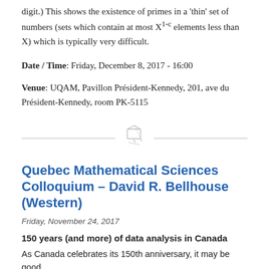digit.) This shows the existence of primes in a 'thin' set of numbers (sets which contain at most X^{1-c} elements less than X) which is typically very difficult.
Date / Time: Friday, December 8, 2017 - 16:00
Venue: UQAM, Pavillon Président-Kennedy, 201, ave du Président-Kennedy, room PK-5115
Quebec Mathematical Sciences Colloquium - David R. Bellhouse (Western)
Friday, November 24, 2017
150 years (and more) of data analysis in Canada
As Canada celebrates its 150th anniversary, it may be good